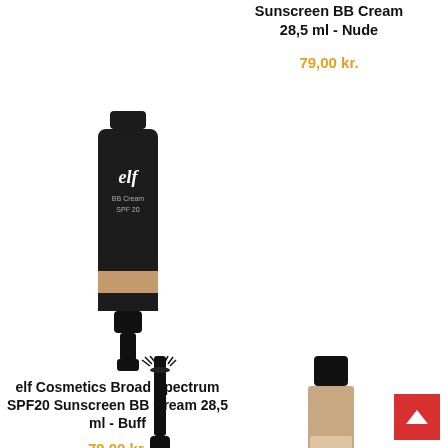Sunscreen BB Cream 28,5 ml - Nude
79,00 kr.
[Figure (photo): elf Cosmetics BB Cream tube product photo, dark tube with beige/tan color band at bottom, on white background]
elf Cosmetics Broad Spectrum SPF20 Sunscreen BB Cream 28,5 ml - Buff
79,00 kr.
[Figure (photo): Mascara wand product photo, black cylindrical mascara with brush wand, partially visible at bottom of page]
[Figure (photo): Concealer/foundation bottle product photo, dark cap with nude/beige bottle, partially visible at bottom right of page]